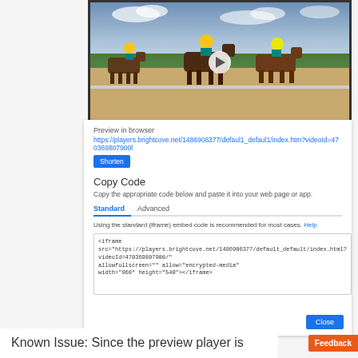[Figure (screenshot): Video thumbnail showing horse racing with jockeys on a track, with a play button in the center. Dark bordered video player.]
Preview in browser
https://players.brightcove.net/1486906377/defaul1_defaul1/index.htm?videoId=470369807900l
Shorten
Copy Code
Copy the appropriate code below and paste it into your web page or app.
Standard | Advanced
Using the standard (iframe) embed code is recommended for most cases. Help
<iframe
src="https://players.brightcove.net/1486906377/default_default/index.html?videoId=470369807900/"
allowfullscreen="" allow="encrypted-media"
width="960" height="540"></iframe>
Change Player Size
Sizing
Responsive  Fixed
Aspect Ratio
Custom
Player Width  Player Height  Units
960           540            px
Close
Known Issue: Since the preview player is